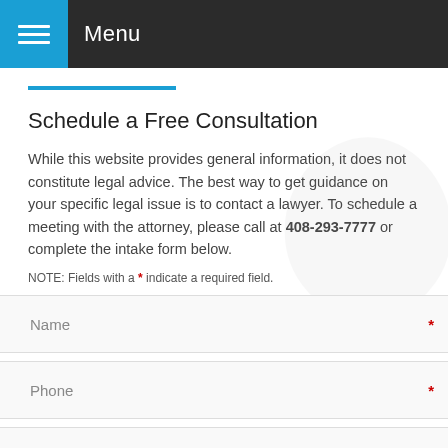Menu
Schedule a Free Consultation
While this website provides general information, it does not constitute legal advice. The best way to get guidance on your specific legal issue is to contact a lawyer. To schedule a meeting with the attorney, please call at 408-293-7777 or complete the intake form below.
NOTE: Fields with a * indicate a required field.
Name *
Phone *
Email *
Briefly describe your legal matter *